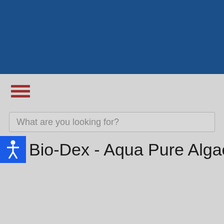[Figure (screenshot): Dark blue header bar at top of webpage]
[Figure (infographic): Hamburger menu icon with three red-brown horizontal bars]
What are you looking for?
Bio-Dex - Aqua Pure Algaecide 32